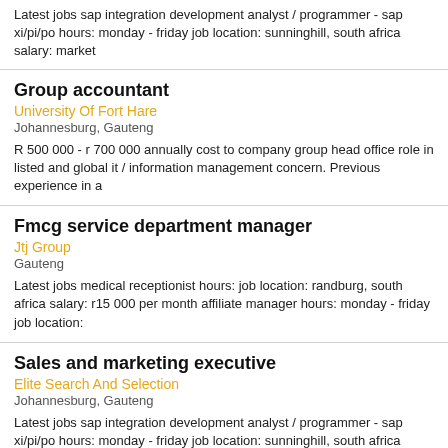Latest jobs sap integration development analyst / programmer - sap xi/pi/po hours: monday - friday job location: sunninghill, south africa salary: market
Group accountant
University Of Fort Hare
Johannesburg, Gauteng
R 500 000 - r 700 000 annually cost to company group head office role in listed and global it / information management concern. Previous experience in a
Fmcg service department manager
Jtj Group
Gauteng
Latest jobs medical receptionist hours: job location: randburg, south africa salary: r15 000 per month affiliate manager hours: monday - friday job location:
Sales and marketing executive
Elite Search And Selection
Johannesburg, Gauteng
Latest jobs sap integration development analyst / programmer - sap xi/pi/po hours: monday - friday job location: sunninghill, south africa salary: market
Group accountant
University Of Fort Hare